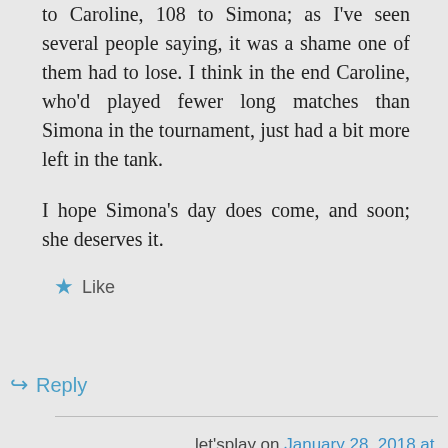to Caroline, 108 to Simona; as I've seen several people saying, it was a shame one of them had to lose. I think in the end Caroline, who'd played fewer long matches than Simona in the tournament, just had a bit more left in the tank.
I hope Simona's day does come, and soon; she deserves it.
★ Like
↪ Reply
let'splay on January 28, 2018 at 9:01 am
She does the clay season well,